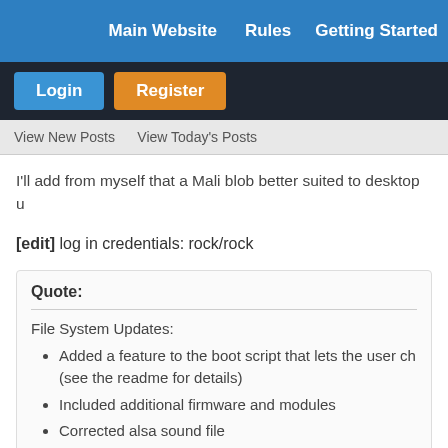Main Website   Rules   Getting Started
Login   Register
View New Posts   View Today's Posts
I'll add from myself that a Mali blob better suited to desktop u
[edit] log in credentials: rock/rock
Quote:
File System Updates:
• Added a feature to the boot script that lets the user ch (see the readme for details)
• Included additional firmware and modules
• Corrected alsa sound file
Kernel Updates: